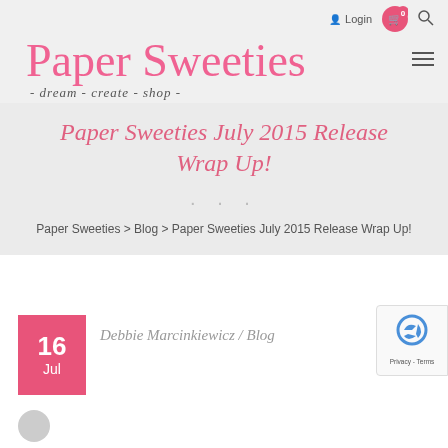Login  0
Paper Sweeties
- dream - create - shop -
Paper Sweeties July 2015 Release Wrap Up!
· · ·
Paper Sweeties > Blog > Paper Sweeties July 2015 Release Wrap Up!
Debbie Marcinkiewicz / Blog
16
Jul